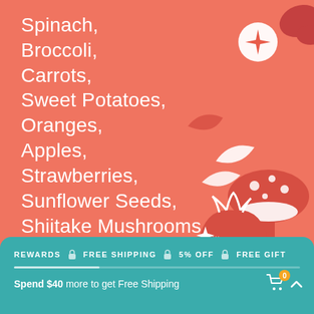Spinach, Broccoli, Carrots, Sweet Potatoes, Oranges, Apples, Strawberries, Sunflower Seeds, Shiitake Mushrooms,
[Figure (illustration): Decorative illustration of various food items including strawberry, mushrooms, citrus slice, leaves, and other produce in dark red/white on salmon background]
REWARDS  🔒 FREE SHIPPING  🔒 5% OFF  🔒 FREE GIFT
Spend $40 more to get Free Shipping